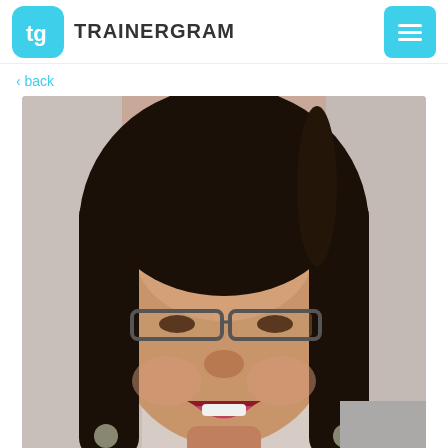TRAINERGRAM
< back
[Figure (photo): Portrait photo of a middle-aged woman with dark hair, glasses, and a smiling expression, wearing earrings. Blurred background.]